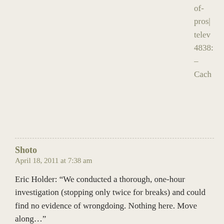of- pros| telev 4838: – Cach
Shoto
April 18, 2011 at 7:38 am
Eric Holder: “We conducted a thorough, one-hour investigation (stopping only twice for breaks) and could find no evidence of wrongdoing. Nothing here. Move along…”